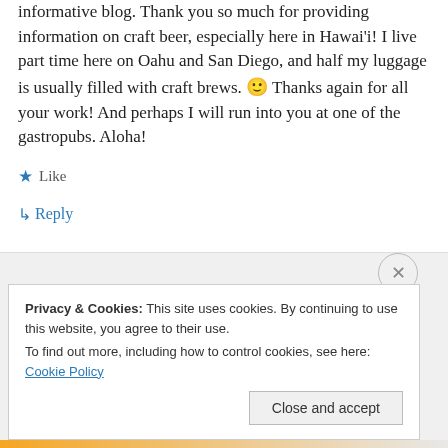informative blog. Thank you so much for providing information on craft beer, especially here in Hawai'i! I live part time here on Oahu and San Diego, and half my luggage is usually filled with craft brews. 🙂 Thanks again for all your work! And perhaps I will run into you at one of the gastropubs. Aloha!
★ Like
↳ Reply
Privacy & Cookies: This site uses cookies. By continuing to use this website, you agree to their use. To find out more, including how to control cookies, see here: Cookie Policy
Close and accept